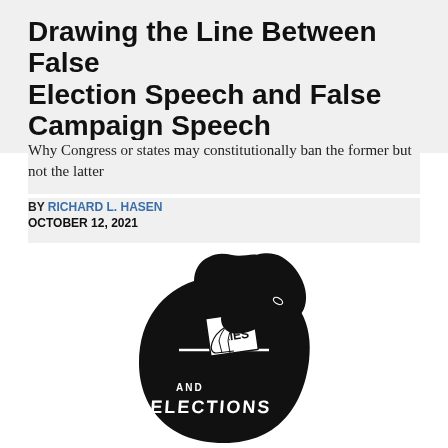Drawing the Line Between False Election Speech and False Campaign Speech
Why Congress or states may constitutionally ban the former but not the latter
BY RICHARD L. HASEN
OCTOBER 12, 2021
[Figure (illustration): Black and white illustration of a hand in a suit sleeve inserting a paper labeled 'LIES' into the top of a human head silhouette, with text 'AND ELECTIONS' visible inside the head, evoking a ballot box metaphor.]